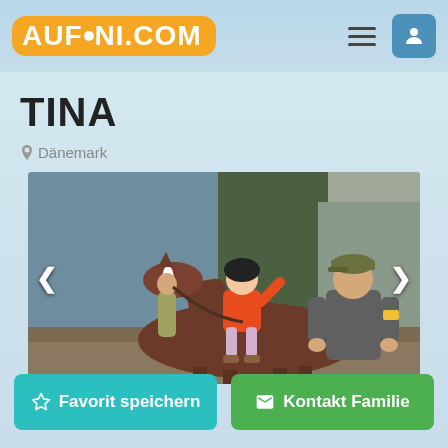AUFINI.COM
TINA
Dänemark
[Figure (photo): A child wearing an orange jacket and black riding helmet sitting on a brown horse, alongside an adult man in a grey long-sleeve shirt and cap, standing outside a farm building.]
‹
›
☆ Favorit speichern
✉ Kontakt Familie